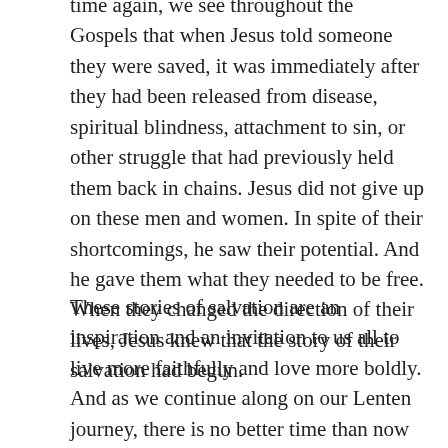time again, we see throughout the Gospels that when Jesus told someone they were saved, it was immediately after they had been released from disease, spiritual blindness, attachment to sin, or other struggle that had previously held them back in chains. Jesus did not give up on these men and women. In spite of their shortcomings, he saw their potential. And he gave them what they needed to be free. When they changed the direction of their lives, Jesus knew that the story of their salvation had begun.
These stories of salvation are an inspiration and an invitation to us all to live more faithfully and love more boldly. And as we continue along on our Lenten journey, there is no better time than now to reflect on whether or not we are embracing our salvation in the way we are living our lives right now.